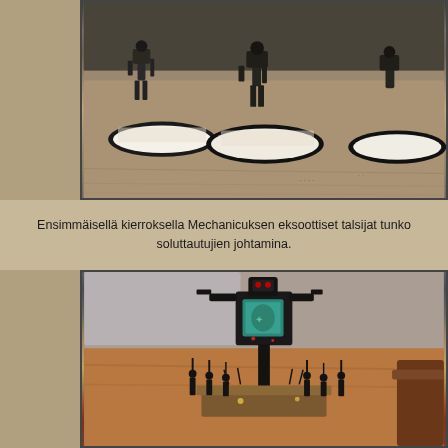[Figure (photo): Close-up photo of painted Warhammer 40K Adeptus Mechanicus miniatures on black oval bases with white basing material, placed on a wooden/stone surface]
Ensimmäisellä kierroksella Mechanicuksen eksoottiset talsijat tunko soluttautujien johtamina.
[Figure (photo): Close-up photo of a large Warhammer 40K Ork or Chaos miniature (tall walker/lord) with teal chest panel, surrounded by smaller black-armored miniatures with spiky weapons, on a wooden surface]